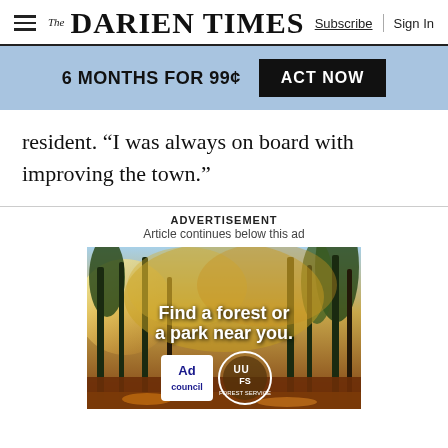The Darien Times | Subscribe | Sign In
6 MONTHS FOR 99¢  ACT NOW
resident. “I was always on board with improving the town.”
ADVERTISEMENT
Article continues below this ad
[Figure (photo): Ad image showing autumn forest with sunlight filtering through trees, text reading 'Find a forest or a park near you.' with Ad Council and US Forest Service logos.]